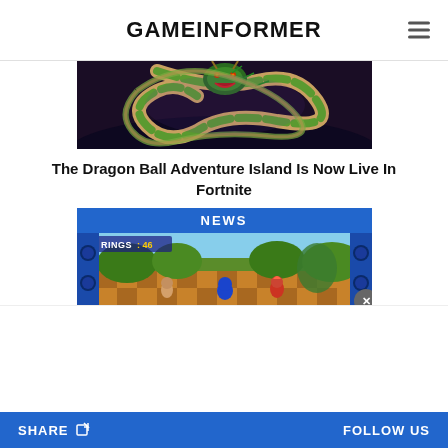GAMEINFORMER
[Figure (photo): Dragon Ball dragon creature on dark fantasy background in Fortnite]
The Dragon Ball Adventure Island Is Now Live In Fortnite
[Figure (screenshot): NEWS label banner with Sonic the Hedgehog game screenshot showing RINGS:46 gameplay with characters on checkered floor]
SHARE   FOLLOW US